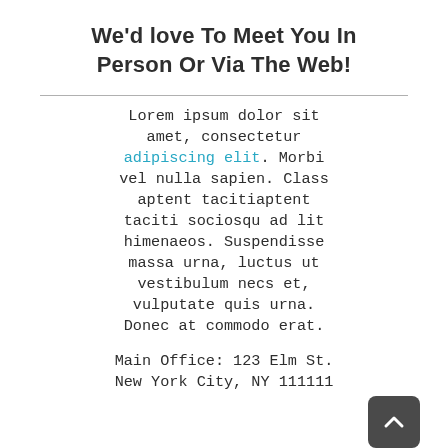We'd love To Meet You In Person Or Via The Web!
Lorem ipsum dolor sit amet, consectetur adipiscing elit. Morbi vel nulla sapien. Class aptent tacitiaptent taciti sociosqu ad lit himenaeos. Suspendisse massa urna, luctus ut vestibulum necs et, vulputate quis urna. Donec at commodo erat.
Main Office: 123 Elm St. New York City, NY 111111